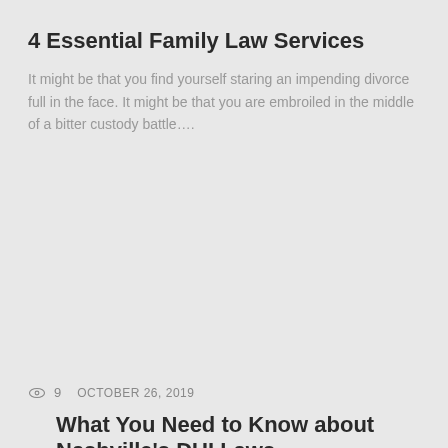4 Essential Family Law Services
It might be that you find yourself staring an impending divorce full in the face. It might be that you are embroiled in the middle of a bitter custody battle….
👁 9   OCTOBER 26, 2019
What You Need to Know about Nashville's DUI Laws
It's an offense for a motorist in each country to use a car while being affected by the consequences of alcohol or